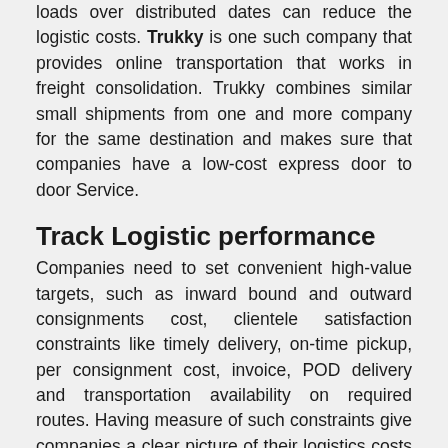loads over distributed dates can reduce the logistic costs. Trukky is one such company that provides online transportation that works in freight consolidation. Trukky combines similar small shipments from one and more company for the same destination and makes sure that companies have a low-cost express door to door Service.
Track Logistic performance
Companies need to set convenient high-value targets, such as inward bound and outward consignments cost, clientele satisfaction constraints like timely delivery, on-time pickup, per consignment cost, invoice, POD delivery and transportation availability on required routes. Having measure of such constraints give companies a clear picture of their logistics costs and the areas of improvements